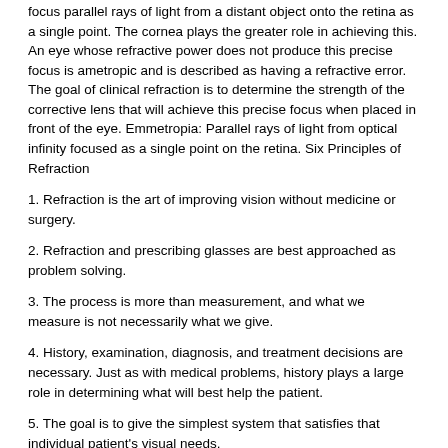focus parallel rays of light from a distant object onto the retina as a single point. The cornea plays the greater role in achieving this. An eye whose refractive power does not produce this precise focus is ametropic and is described as having a refractive error. The goal of clinical refraction is to determine the strength of the corrective lens that will achieve this precise focus when placed in front of the eye. Emmetropia: Parallel rays of light from optical infinity focused as a single point on the retina. Six Principles of Refraction
1. Refraction is the art of improving vision without medicine or surgery.
2. Refraction and prescribing glasses are best approached as problem solving.
3. The process is more than measurement, and what we measure is not necessarily what we give.
4. History, examination, diagnosis, and treatment decisions are necessary. Just as with medical problems, history plays a large role in determining what will best help the patient.
5. The goal is to give the simplest system that satisfies that individual patient's visual needs.
6. The appropriate prescription is decided upon for and with each patient. Explain and always show the patient, binocularly, what you will be prescribing